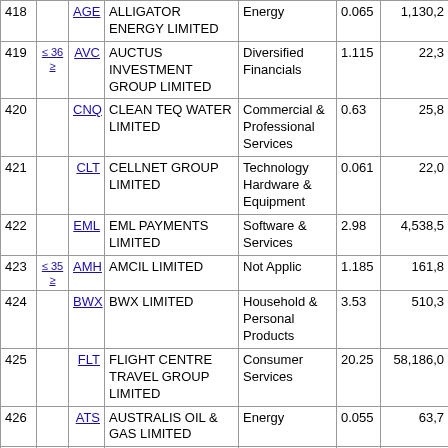| # |  | Code | Name | Sector | Price | Mkt Cap |
| --- | --- | --- | --- | --- | --- | --- |
| 418 |  | AGE | ALLIGATOR ENERGY LIMITED | Energy | 0.065 | 1,130,2… |
| 419 | ≤ 36 ≥ | AVC | AUCTUS INVESTMENT GROUP LIMITED | Diversified Financials | 1.115 | 22,3… |
| 420 |  | CNQ | CLEAN TEQ WATER LIMITED | Commercial & Professional Services | 0.63 | 25,8… |
| 421 |  | CLT | CELLNET GROUP LIMITED | Technology Hardware & Equipment | 0.061 | 22,0… |
| 422 |  | EML | EML PAYMENTS LIMITED | Software & Services | 2.98 | 4,538,5… |
| 423 | ≤ 35 ≥ | AMH | AMCIL LIMITED | Not Applic | 1.185 | 161,8… |
| 424 |  | BWX | BWX LIMITED | Household & Personal Products | 3.53 | 510,3… |
| 425 |  | FLT | FLIGHT CENTRE TRAVEL GROUP LIMITED | Consumer Services | 20.25 | 58,186,0… |
| 426 |  | ATS | AUSTRALIS OIL & GAS LIMITED | Energy | 0.055 | 63,7… |
| 427 |  | ALG | ARDENT LEISURE GROUP LIMITED | Consumer Services | 1.355 | 891,2… |
| 428 |  | CD3 | CD PRIVATE EQUITY FUND III | Not Applic | 1.62 | 45,2… |
| 429 |  | A2B | A2B AUSTRALIA LIMITED | Transportation | 1.35 | 211,2… |